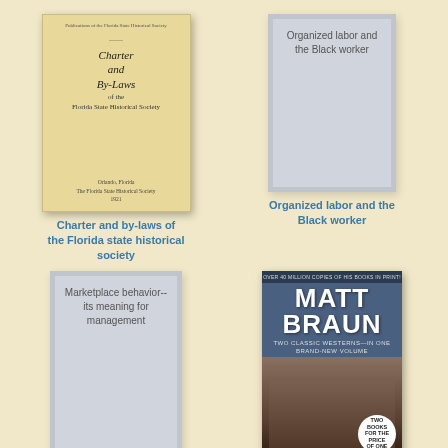[Figure (illustration): Book cover: Charter and By-Laws of the Florida State Historical Society, yellowish paper cover with serif text, published in Orlando Florida]
Charter and by-laws of the Florida state historical society
[Figure (illustration): Gray placeholder book cover with text: Organized labor and the Black worker]
Organized labor and the Black worker
[Figure (illustration): Gray placeholder book cover with text: Marketplace behavior-- its meaning for management]
[Figure (illustration): Book cover: Matt Braun, Two Classic Westerns in One Brand-New Volume, with western building imagery and badge saying Two Books for the Price of One]